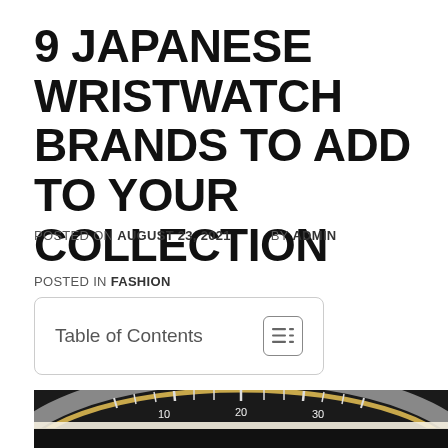9 JAPANESE WRISTWATCH BRANDS TO ADD TO YOUR COLLECTION
POSTED ON AUGUST 23, 2021   BY ADMIN
POSTED IN FASHION
Table of Contents
[Figure (photo): Close-up photo of a Japanese wristwatch, showing the dark bezel and dial face with tick marks and numerals, partial view from below]